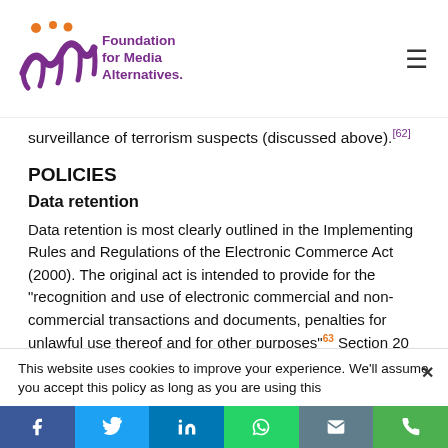Foundation for Media Alternatives
surveillance of terrorism suspects (discussed above).[62]
POLICIES
Data retention
Data retention is most clearly outlined in the Implementing Rules and Regulations of the Electronic Commerce Act (2000). The original act is intended to provide for the “recognition and use of electronic commercial and non-commercial transactions and documents, penalties for unlawful use thereof and for other purposes”63 Section 20
This website uses cookies to improve your experience. We’ll assume you accept this policy as long as you are using this